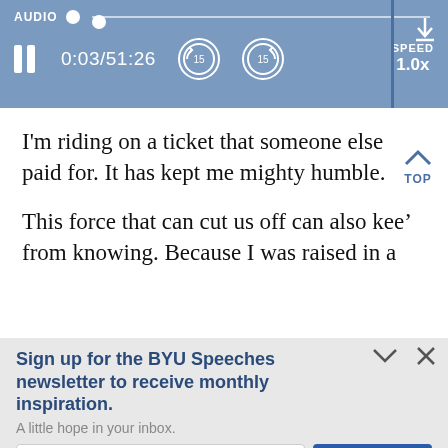[Figure (screenshot): Audio player bar with pause button, time display 0:03/51:26, rewind 15 and forward 15 buttons, SPEED 1.0x, and a download/vertical bar. Blue background.]
I'm riding on a ticket that someone else paid for. It has kept me mighty humble.
This force that can cut us off can also kee from knowing. Because I was raised in a
Sign up for the BYU Speeches newsletter to receive monthly inspiration.
A little hope in your inbox.
Enter your email
SUBSCRIBE